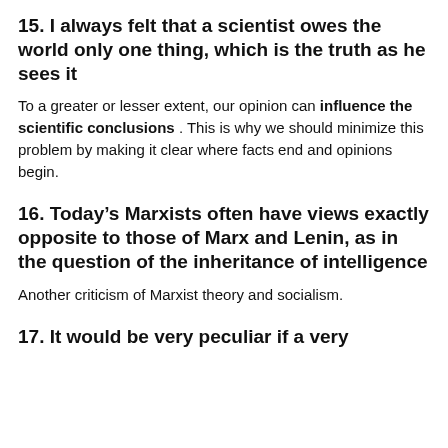15. I always felt that a scientist owes the world only one thing, which is the truth as he sees it
To a greater or lesser extent, our opinion can influence the scientific conclusions . This is why we should minimize this problem by making it clear where facts end and opinions begin.
16. Today’s Marxists often have views exactly opposite to those of Marx and Lenin, as in the question of the inheritance of intelligence
Another criticism of Marxist theory and socialism.
17. It would be very peculiar if a very